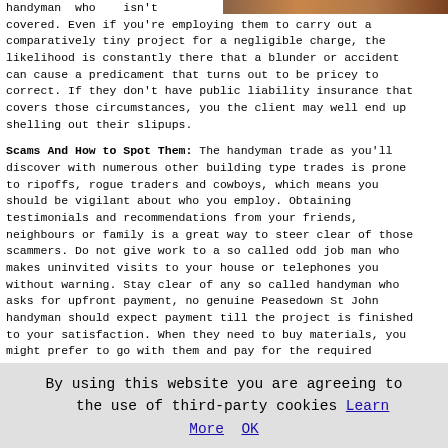[Figure (photo): Partial photo visible at top right corner of the page, showing what appears to be a person.]
handyman who isn't covered. Even if you're employing them to carry out a comparatively tiny project for a negligible charge, the likelihood is constantly there that a blunder or accident can cause a predicament that turns out to be pricey to correct. If they don't have public liability insurance that covers those circumstances, you the client may well end up shelling out their slipups.
Scams And How to Spot Them: The handyman trade as you'll discover with numerous other building type trades is prone to ripoffs, rogue traders and cowboys, which means you should be vigilant about who you employ. Obtaining testimonials and recommendations from your friends, neighbours or family is a great way to steer clear of those scammers. Do not give work to a so called odd job man who makes uninvited visits to your house or telephones you without warning. Stay clear of any so called handyman who asks for upfront payment, no genuine Peasedown St John handyman should expect payment till the project is finished to your satisfaction. When they need to buy materials, you might prefer to go with them and pay for the required
By using this website you are agreeing to the use of third-party cookies Learn More  OK